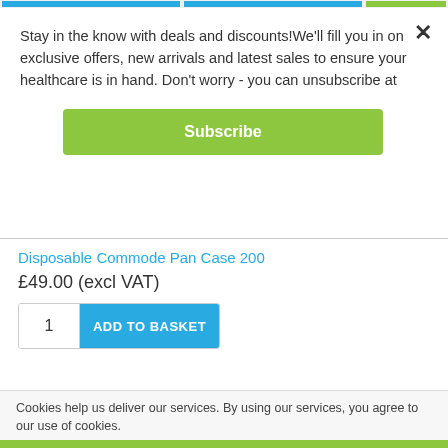Stay in the know with deals and discounts!We'll fill you in on exclusive offers, new arrivals and latest sales to ensure your healthcare is in hand. Don't worry - you can unsubscribe at
Subscribe
Disposable Commode Pan Case 200
£49.00 (excl VAT)
1
ADD TO BASKET
Cookies help us deliver our services. By using our services, you agree to our use of cookies.
OK
Learn more